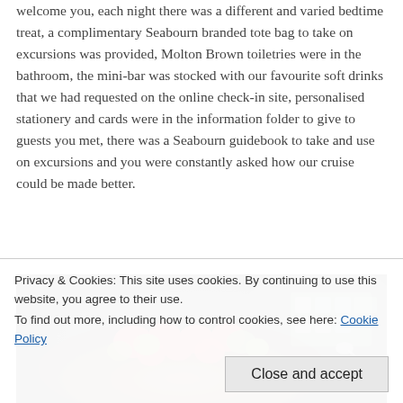welcome you, each night there was a different and varied bedtime treat, a complimentary Seabourn branded tote bag to take on excursions was provided, Molton Brown toiletries were in the bathroom, the mini-bar was stocked with our favourite soft drinks that we had requested on the online check-in site, personalised stationery and cards were in the information folder to give to guests you met, there was a Seabourn guidebook to take and use on excursions and you were constantly asked how our cruise could be made better.
[Figure (photo): A dark-background photo of a fruit tart or dessert platter with red strawberries, green kiwi fruit, and other colorful fruits arranged on top. Additional food items visible in the background.]
Privacy & Cookies: This site uses cookies. By continuing to use this website, you agree to their use.
To find out more, including how to control cookies, see here: Cookie Policy
Close and accept